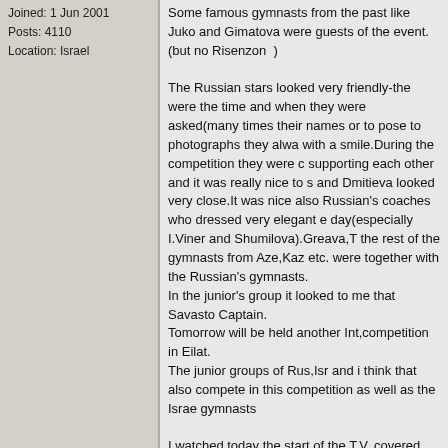Joined: 1 Jun 2001
Posts: 4110
Location: Israel
Some famous gymnasts from the past like Juko and Gimatova were guests of the event.(but no Risenzon  )

The Russian stars looked very friendly-the were the time and when they were asked(many times their names or to pose to photographs they alwa with a smile.During the competition they were c supporting each other and it was really nice to s and Dmitieva looked very close.It was nice also Russian's coaches who dressed very elegant e day(especially I.Viner and Shumilova).Greava,T the rest of the gymnasts from Aze,Kaz etc. were together with the Russian's gymnasts.
In the junior's group it looked to me that Savasto Captain.
Tomorrow will be held another Int,competition in Eilat.
The junior groups of Rus,Isr and i think that also compete in this competition as well as the Israe gymnasts

I watched today the start of the T.V. covered and sad to hear the man that commented this event.